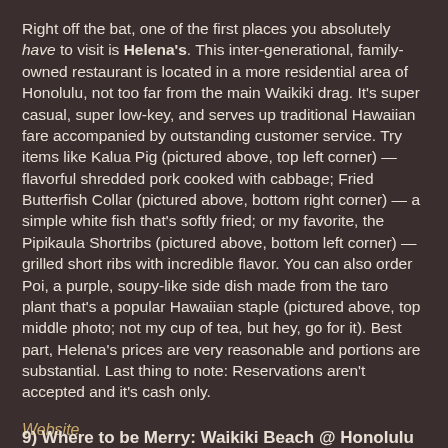Right off the bat, one of the first places you absolutely have to visit is Helena's. This inter-generational, family-owned restaurant is located in a more residential area of Honolulu, not too far from the main Waikiki drag. It's super casual, super low-key, and serves up traditional Hawaiian fare accompanied by outstanding customer service. Try items like Kalua Pig (pictured above, top left corner) — flavorful shredded pork cooked with cabbage; Fried Butterfish Collar (pictured above, bottom right corner) — a simple white fish that's softly fried; or my favorite, the Pipikaula Shortribs (pictured above, bottom left corner) — grilled short ribs with incredible flavor. You can also order Poi, a purple, soupy-like side dish made from the taro plant that's a popular Hawaiian staple (pictured above, top middle photo; not my cup of tea, but hey, go for it). Best part, Helena's prices are very reasonable and portions are substantial. Last thing to note: Reservations aren't accepted and it's cash only.
Website
9) Where to be Merry: Waikiki Beach @ Honolulu